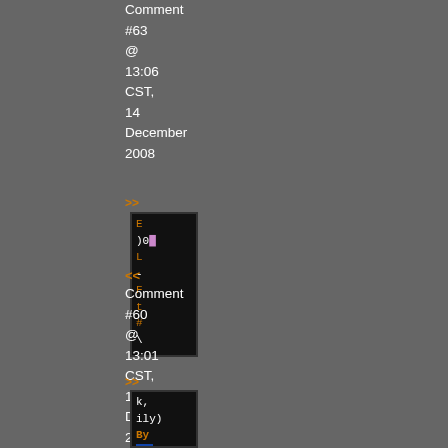Comment #63 @ 13:06 CST, 14 December 2008
>>
[Figure (screenshot): Code snippet block with orange, white, and pink colored text on dark background, partially visible]
<< Comment #60 @ 13:01 CST, 14 December 2008
>>
[Figure (screenshot): Code snippet block with orange, blue colored text on dark background, partially visible, showing k, ily) By and .sy]